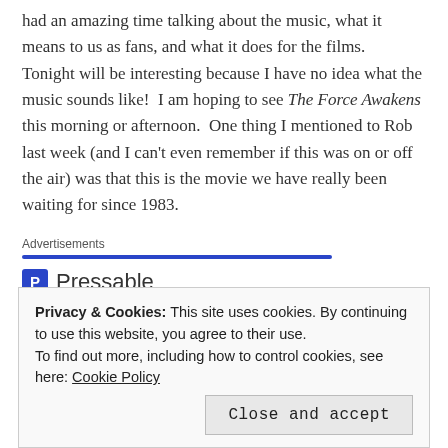had an amazing time talking about the music, what it means to us as fans, and what it does for the films.  Tonight will be interesting because I have no idea what the music sounds like!  I am hoping to see The Force Awakens this morning or afternoon.  One thing I mentioned to Rob last week (and I can't even remember if this was on or off the air) was that this is the movie we have really been waiting for since 1983.
Advertisements
[Figure (logo): Pressable logo — blue square with white P letter followed by the word Pressable in gray text, with a row of dots below]
The Platform
Privacy & Cookies: This site uses cookies. By continuing to use this website, you agree to their use.
To find out more, including how to control cookies, see here: Cookie Policy
[Close and accept button]